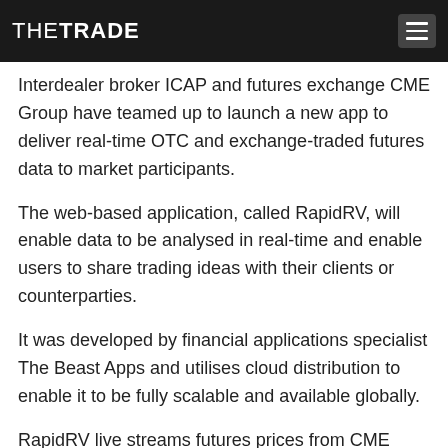THETRADE
Interdealer broker ICAP and futures exchange CME Group have teamed up to launch a new app to deliver real-time OTC and exchange-traded futures data to market participants.
The web-based application, called RapidRV, will enable data to be analysed in real-time and enable users to share trading ideas with their clients or counterparties.
It was developed by financial applications specialist The Beast Apps and utilises cloud distribution to enable it to be fully scalable and available globally.
RapidRV live streams futures prices from CME Group while ICAP feeds the app with data on OTC derivatives and US Treasuries from its GovPX and SwapPX platforms.